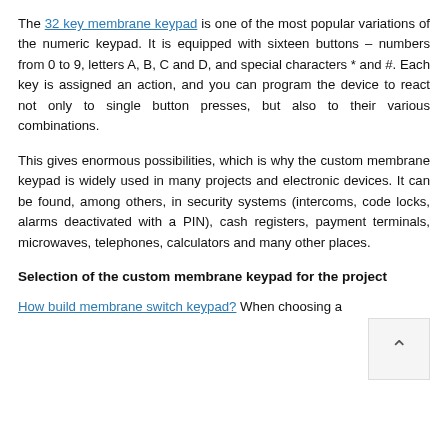The 32 key membrane keypad is one of the most popular variations of the numeric keypad. It is equipped with sixteen buttons – numbers from 0 to 9, letters A, B, C and D, and special characters * and #. Each key is assigned an action, and you can program the device to react not only to single button presses, but also to their various combinations.
This gives enormous possibilities, which is why the custom membrane keypad is widely used in many projects and electronic devices. It can be found, among others, in security systems (intercoms, code locks, alarms deactivated with a PIN), cash registers, payment terminals, microwaves, telephones, calculators and many other places.
Selection of the custom membrane keypad for the project
How build membrane switch keypad? When choosing a